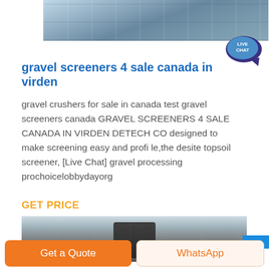[Figure (photo): Aerial or industrial facility photo showing a large indoor space with water/wet floor and industrial structures, viewed from above]
gravel screeners 4 sale canada in virden
gravel crushers for sale in canada test gravel screeners canada GRAVEL SCREENERS 4 SALE CANADA IN VIRDEN DETECH CO designed to make screening easy and profi le,the desite topsoil screener, [Live Chat] gravel processing prochoicelobbydayorg
GET PRICE
[Figure (photo): Industrial warehouse interior showing a large cylindrical machine or equipment with overhead lighting and structural beams]
Get a Quote
WhatsApp